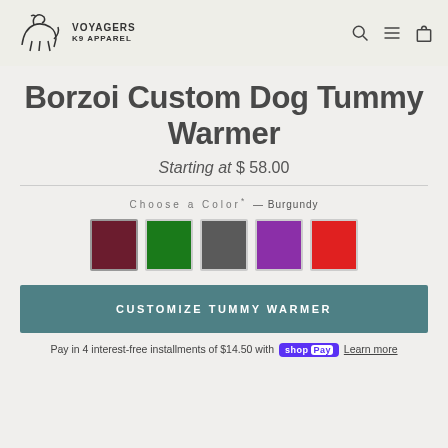Voyagers K9 Apparel — navigation header with logo, search, menu, and cart icons
Borzoi Custom Dog Tummy Warmer
Starting at $ 58.00
Choose a Color* — Burgundy
[Figure (other): Five color swatches: Burgundy (selected), Green, Charcoal, Purple, Red]
CUSTOMIZE TUMMY WARMER
Pay in 4 interest-free installments of $14.50 with Shop Pay Learn more